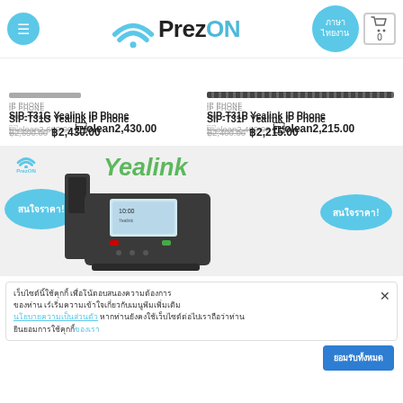PrezOn - header with menu, logo, language button, cart
[Figure (screenshot): Product listing showing SIP-T31G Yealink IP Phone with line/cord image top]
IP PHONE
SIP-T31G Yealink IP Phone
฿2,690.00  ฿2,430.00
IP PHONE
SIP-T31P Yealink IP Phone
฿2,400.00  ฿2,215.00
[Figure (photo): Yealink IP phone product banner with PrezON logo, Yealink brand, phone device image, and two blue oval badges with Thai text]
Cookie consent notification with Thai text about cookies, privacy policy link, and accept button